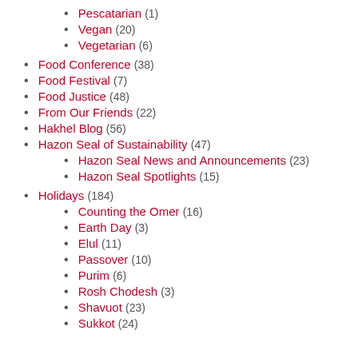Pescatarian (1)
Vegan (20)
Vegetarian (6)
Food Conference (38)
Food Festival (7)
Food Justice (48)
From Our Friends (22)
Hakhel Blog (56)
Hazon Seal of Sustainability (47)
Hazon Seal News and Announcements (23)
Hazon Seal Spotlights (15)
Holidays (184)
Counting the Omer (16)
Earth Day (3)
Elul (11)
Passover (10)
Purim (6)
Rosh Chodesh (3)
Shavuot (23)
Sukkot (24)